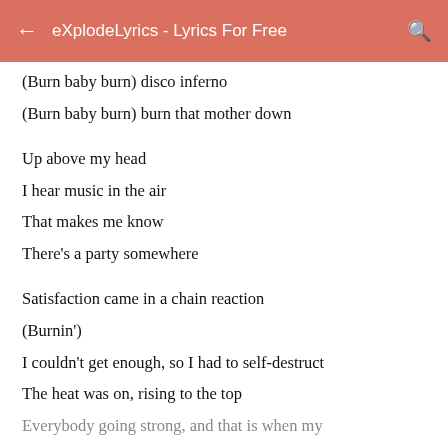eXplodeLyrics - Lyrics For Free
(Burn baby burn) disco inferno
(Burn baby burn) burn that mother down
Up above my head
I hear music in the air
That makes me know
There's a party somewhere
Satisfaction came in a chain reaction
(Burnin')
I couldn't get enough, so I had to self-destruct
The heat was on, rising to the top
Everybody going strong, and that is when my...